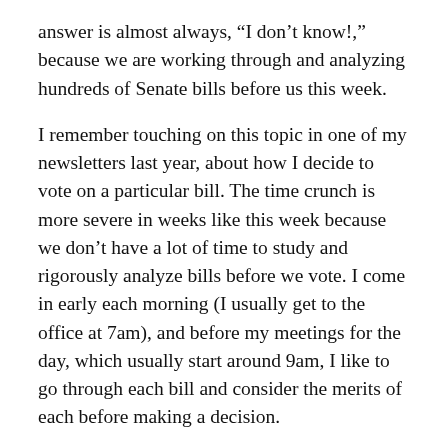answer is almost always, “I don’t know!,” because we are working through and analyzing hundreds of Senate bills before us this week.
I remember touching on this topic in one of my newsletters last year, about how I decide to vote on a particular bill. The time crunch is more severe in weeks like this week because we don’t have a lot of time to study and rigorously analyze bills before we vote. I come in early each morning (I usually get to the office at 7am), and before my meetings for the day, which usually start around 9am, I like to go through each bill and consider the merits of each before making a decision.
Most of the bills we vote on are not controversial, and pass the Senate unanimously or close to it. Those are the easy bills. We often see controversial bills around issues like firearms, education, or social issues. Believe